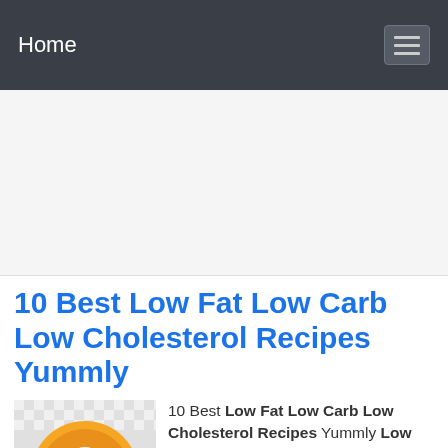Home
[Figure (other): Advertisement / empty ad banner area]
10 Best Low Fat Low Carb Low Cholesterol Recipes Yummly
[Figure (logo): Orange circular cooking logo with crossed spoon and fork, chef hat icon in white]
10 Best Low Fat Low Carb Low Cholesterol Recipes Yummly Low Fat Low Carb Low Cholesterol Recipes Low-Carb Low-Fat Tex-